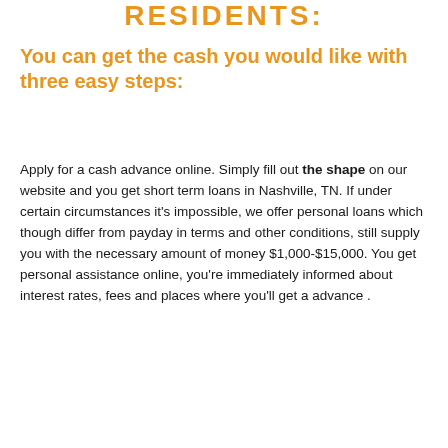RESIDENTS:
You can get the cash you would like with three easy steps:
Apply for a cash advance online. Simply fill out the shape on our website and you get short term loans in Nashville, TN. If under certain circumstances it’s impossible, we offer personal loans which though differ from payday in terms and other conditions, still supply you with the necessary amount of money $1,000-$15,000. You get personal assistance online, you’re immediately informed about interest rates, fees and places where you’ll get a advance .